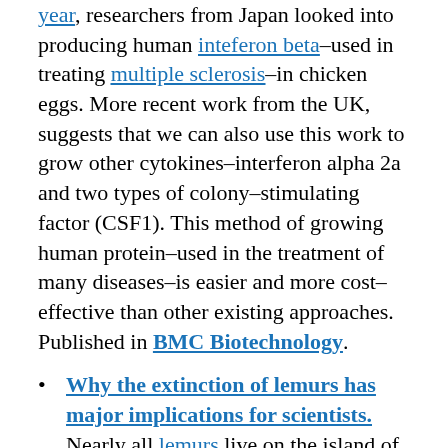year, researchers from Japan looked into producing human inteferon beta-used in treating multiple sclerosis-in chicken eggs. More recent work from the UK, suggests that we can also use this work to grow other cytokines-interferon alpha 2a and two types of colony-stimulating factor (CSF1). This method of growing human protein-used in the treatment of many diseases-is easier and more cost-effective than other existing approaches. Published in BMC Biotechnology.
Why the extinction of lemurs has major implications for scientists. Nearly all lemurs live on the island of Madagascar-and they are on the verge of extinction. In addition to this crisis, Dr. Patricia Wright, of Stony Brook University in New York, writes, "A lot of the experiments on human health are done on the mouse and the